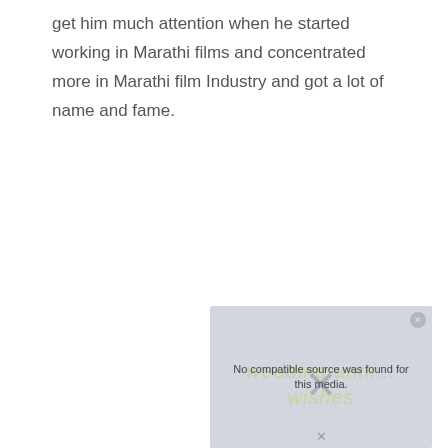get him much attention when he started working in Marathi films and concentrated more in Marathi film Industry and got a lot of name and fame.
[Figure (screenshot): A video player overlay showing 'No compatible source was found for this media.' with a close button (X), and a watermark with cursive 'wedding anni... wishes' text and an X dismiss button.]